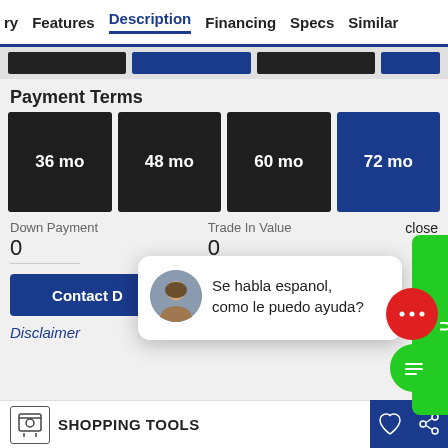ry   Features   Description   Financing   Specs   Similar
Payment Terms
36 mo
48 mo
60 mo
72 mo
Down Payment
Trade In Value
0
0
close
Contact D
Se habla espanol, como le puedo ayuda?
TEXT US!
Disclaimer
SHOPPING TOOLS